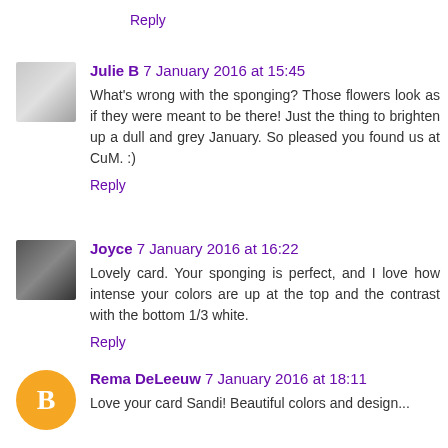Reply
Julie B 7 January 2016 at 15:45
What's wrong with the sponging? Those flowers look as if they were meant to be there! Just the thing to brighten up a dull and grey January. So pleased you found us at CuM. :)
Reply
Joyce 7 January 2016 at 16:22
Lovely card. Your sponging is perfect, and I love how intense your colors are up at the top and the contrast with the bottom 1/3 white.
Reply
Rema DeLeeuw 7 January 2016 at 18:11
Love your card Sandi! Beautiful colors and design...